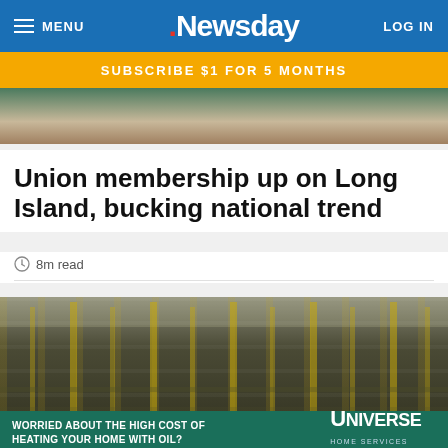MENU | Newsday | LOG IN
SUBSCRIBE $1 FOR 5 MONTHS
[Figure (photo): Partial photo of a person wearing a cream-colored sweater against a teal/green background, cropped at the top]
Union membership up on Long Island, bucking national trend
8m read
[Figure (photo): Wide-angle interior shot of a large warehouse fulfillment center with yellow pillars, conveyor systems, and packed shelving extending into the distance]
WORRIED ABOUT THE HIGH COST OF HEATING YOUR HOME WITH OIL? Convert from oil-to-gas with Universe!